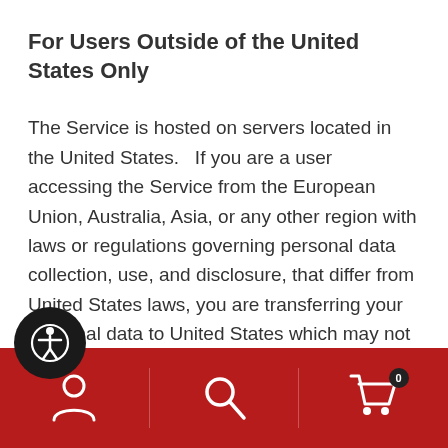For Users Outside of the United States Only
The Service is hosted on servers located in the United States.   If you are a user accessing the Service from the European Union, Australia, Asia, or any other region with laws or regulations governing personal data collection, use, and disclosure, that differ from United States laws, you are transferring your personal data to United States which may not have the same data protection laws as such other regions.  By providing user information through the Service you are consenting to the transfer of your information to the
[Figure (other): Accessibility icon button — circular black button with a person/accessibility symbol in white]
[Figure (other): Bottom navigation bar with red background containing three icons: user/account icon, search icon, and shopping cart icon with badge showing 0]